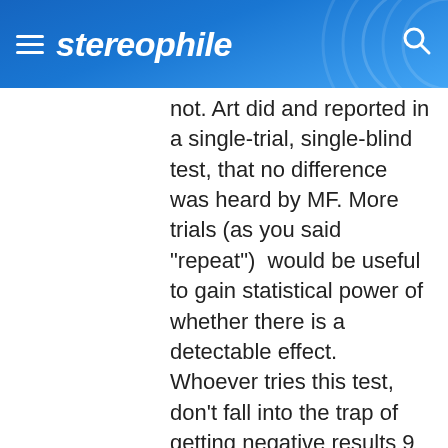stereophile
not. Art did and reported in a single-trial, single-blind test, that no difference was heard by MF. More trials (as you said "repeat")  would be useful to gain statistical power of whether there is a detectable effect. Whoever tries this test, don't fall into the trap of getting negative results 9 times and on the 10th trial get a positive result and then incorrectly concluding that the result is positive."